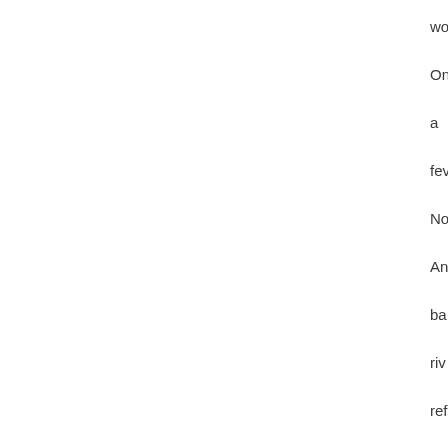wo
On
a
fev
No
An
ba:
riv
ref
to
pla
nic
an
we
ha
riv
pla